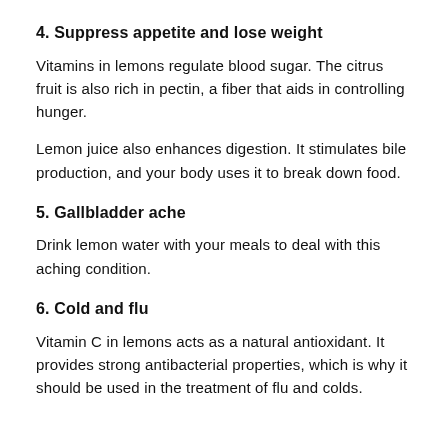4. Suppress appetite and lose weight
Vitamins in lemons regulate blood sugar. The citrus fruit is also rich in pectin, a fiber that aids in controlling hunger.
Lemon juice also enhances digestion. It stimulates bile production, and your body uses it to break down food.
5. Gallbladder ache
Drink lemon water with your meals to deal with this aching condition.
6. Cold and flu
Vitamin C in lemons acts as a natural antioxidant. It provides strong antibacterial properties, which is why it should be used in the treatment of flu and colds.